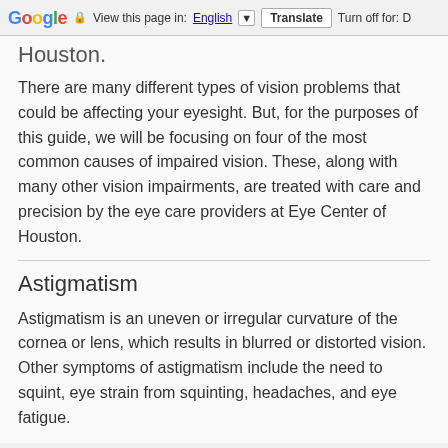Google  View this page in: English [▼]  Translate  Turn off for: D
Houston.
There are many different types of vision problems that could be affecting your eyesight. But, for the purposes of this guide, we will be focusing on four of the most common causes of impaired vision. These, along with many other vision impairments, are treated with care and precision by the eye care providers at Eye Center of Houston.
Astigmatism
Astigmatism is an uneven or irregular curvature of the cornea or lens, which results in blurred or distorted vision. Other symptoms of astigmatism include the need to squint, eye strain from squinting, headaches, and eye fatigue.